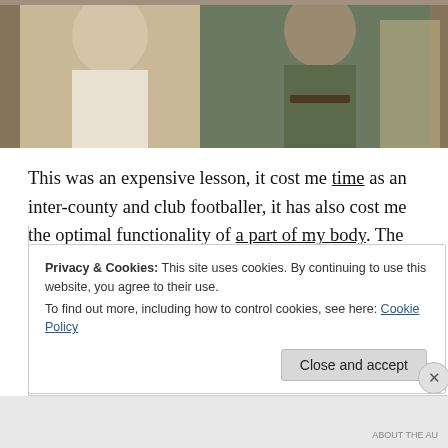[Figure (photo): Photograph of two people in period costume, one in light/white clothing on the left and one in darker olive/khaki outfit with a belt on the right, indoor setting]
This was an expensive lesson, it cost me time as an inter-county and club footballer, it has also cost me the optimal functionality of a part of my body. The greatest thing you will truly own in your life.
Privacy & Cookies: This site uses cookies. By continuing to use this website, you agree to their use.
To find out more, including how to control cookies, see here: Cookie Policy
Close and accept